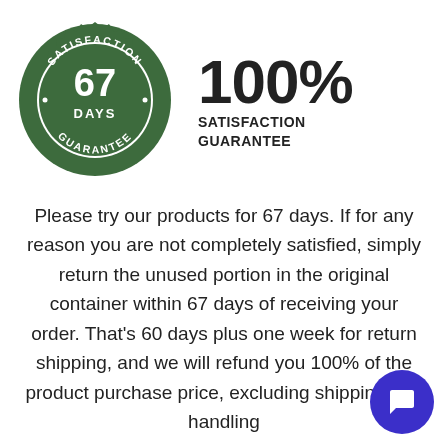[Figure (logo): Green circular satisfaction guarantee stamp/badge reading '67 DAYS' in center with 'SATISFACTION' on top arc and 'GUARANTEE' on bottom arc, with serrated/zigzag border]
100%
SATISFACTION
GUARANTEE
Please try our products for 67 days. If for any reason you are not completely satisfied, simply return the unused portion in the original container within 67 days of receiving your order. That's 60 days plus one week for return shipping, and we will refund you 100% of the product purchase price, excluding shipping and handling